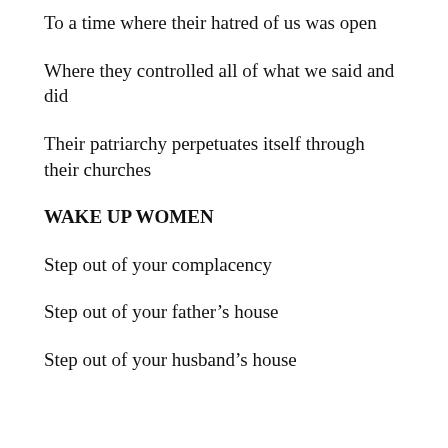To a time where their hatred of us was open
Where they controlled all of what we said and did
Their patriarchy perpetuates itself through their churches
WAKE UP WOMEN
Step out of your complacency
Step out of your father's house
Step out of your husband's house